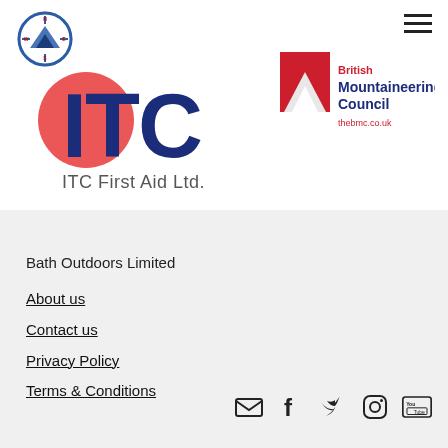[Figure (logo): Small circular site logo with mountain/compass design in top left]
[Figure (logo): ITC First Aid Ltd. logo — large dark blue ITC letters with red circle element and text ITC First Aid Ltd. below]
[Figure (logo): British Mountaineering Council logo — red mountain icon with text British Mountaineering Council and thebmc.co.uk]
Bath Outdoors Limited
About us
Contact us
Privacy Policy
Terms & Conditions
[Figure (infographic): Social media icons: email/envelope, Facebook, Twitter, Instagram, YouTube]